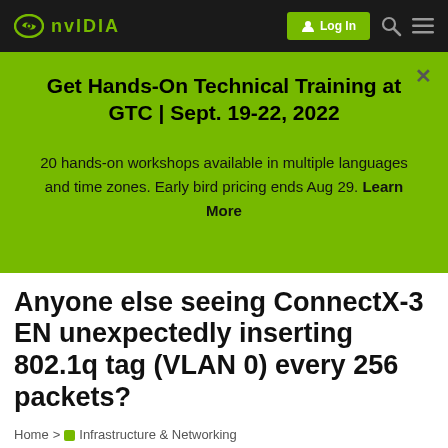NVIDIA | Log In
Get Hands-On Technical Training at GTC | Sept. 19-22, 2022
20 hands-on workshops available in multiple languages and time zones. Early bird pricing ends Aug 29. Learn More
Anyone else seeing ConnectX-3 EN unexpectedly inserting 802.1q tag (VLAN 0) every 256 packets?
Home > Infrastructure & Networking > Adapters and Cables > Ethernet Adapter Cards